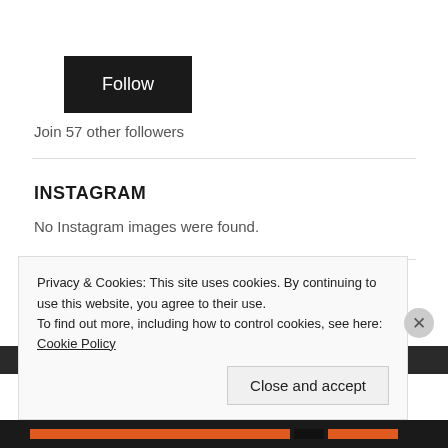[Figure (screenshot): Black Follow button widget]
Join 57 other followers
INSTAGRAM
No Instagram images were found.
Privacy & Cookies: This site uses cookies. By continuing to use this website, you agree to their use.
To find out more, including how to control cookies, see here: Cookie Policy
Close and accept